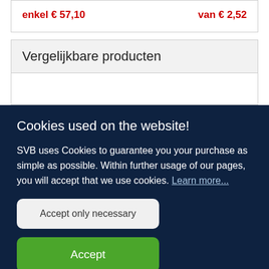enkel € 57,10   van € 2,52
Vergelijkbare producten
Cookies used on the website!
SVB uses Cookies to guarantee you your purchase as simple as possible. Within further usage of our pages, you will accept that we use cookies. Learn more...
Accept only necessary
Accept